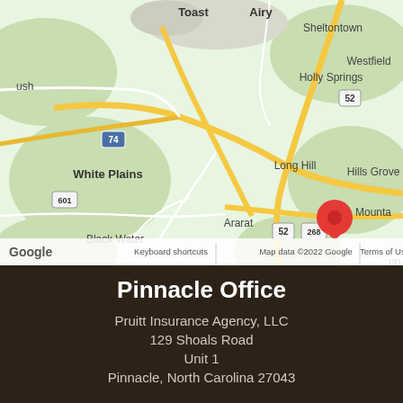[Figure (map): Google Maps screenshot showing the area around Pinnacle, North Carolina, with a red location pin marker. Visible place names include Toast, Airy, Sheltontown, Holly Springs, Westfield, White Plains, Long Hill, Hills Grove, Black Water, Ararat, Cedar Hill, and route numbers 74, 52, 601, 268. Map controls (+/-) visible in lower right. Google branding and map attribution at bottom.]
Pinnacle Office
Pruitt Insurance Agency, LLC
129 Shoals Road
Unit 1
Pinnacle, North Carolina 27043